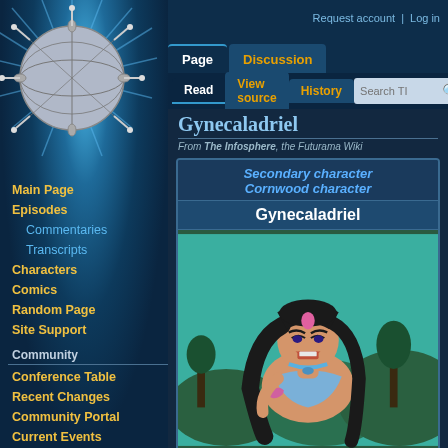Request account  Log in
Page  Discussion
Read  View source  History
Gynecaladriel
From The Infosphere, the Futurama Wiki
| Secondary character | Cornwood character | Gynecaladriel | Image | Gender Female |
| --- | --- | --- | --- | --- |
[Figure (illustration): Illustration of Gynecaladriel, an animated female character from Futurama with long black hair, a pink forehead mark, and a blue outfit, set against a teal forest background.]
GenderFemale
Main Page
Episodes
Commentaries
Transcripts
Characters
Comics
Random Page
Site Support
Community
Conference Table
Recent Changes
Community Portal
Current Events